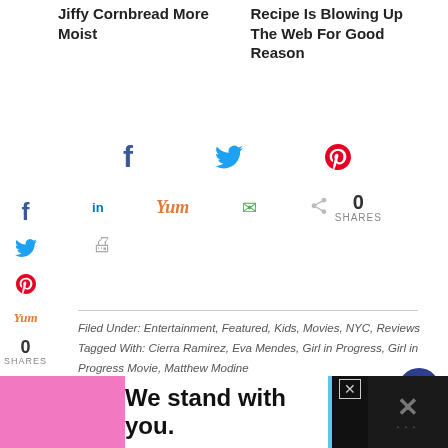Jiffy Cornbread More Moist
Recipe Is Blowing Up The Web For Good Reason
0 SHARES (share bar with Facebook, Twitter, Pinterest, LinkedIn, Yum, Email, Print icons)
Filed Under: Entertainment, Featured, Kids, Movies, NYC, Reviews
Tagged With: Cierra Ramirez, Eva Mendes, Girl in Progress, Girl in Progress Movie, Matthew Modine
Review: Motorola MBP 36 Remote Wireless Video Baby Monitor
We stand with you.